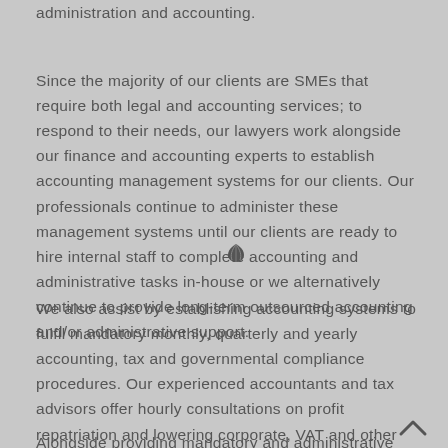administration and accounting.
Since the majority of our clients are SMEs that require both legal and accounting services; to respond to their needs, our lawyers work alongside our finance and accounting experts to establish accounting management systems for our clients. Our professionals continue to administer these management systems until our clients are ready to hire internal staff to complete accounting and administrative tasks in-house or we alternatively continue to provide long-term outsourced accounting and/or administrative support.
We also assist by establishing accounting systems to fulfil mandatory monthly, quarterly and yearly accounting, tax and governmental compliance procedures. Our experienced accountants and tax advisors offer hourly consultations on profit repatriation and lowering corporate, VAT and other taxes and these consultation sessions often prove to be invaluable for our clients.
Alongside providing mandatory and administrative accounting...